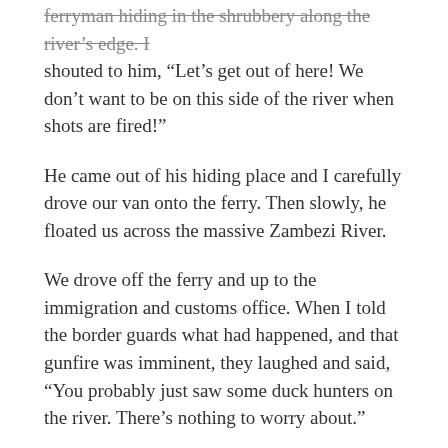ferryman hiding in the shrubbery along the river's edge. I shouted to him, "Let's get out of here! We don't want to be on this side of the river when shots are fired!"
He came out of his hiding place and I carefully drove our van onto the ferry. Then slowly, he floated us across the massive Zambezi River.
We drove off the ferry and up to the immigration and customs office. When I told the border guards what had happened, and that gunfire was imminent, they laughed and said, “You probably just saw some duck hunters on the river. There’s nothing to worry about.”
Then it happened. Shots rang out nearby, and those very guards who a minute before had been laughing at us, suddenly ran into the immigration office and dove over the counter, all the while shouting at us, “Get out of here before you get shot!”